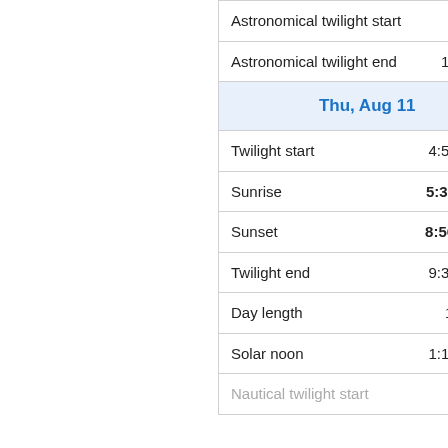| Event | Time |
| --- | --- |
| Astronomical twilight start | 2:28 am |
| Astronomical twilight end | 12:06 am |
| Thu, Aug 11 |  |
| Twilight start | 4:56:56 am |
| Sunrise | 5:37:43 am |
| Sunset | 8:56:47 pm |
| Twilight end | 9:37:34 pm |
| Day length | 15:19:04 |
| Solar noon | 1:17:15 pm |
| Nautical twilight start | 3:50 am |